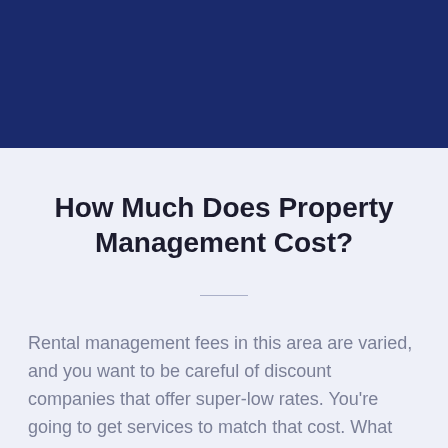[Figure (other): Dark navy blue header banner area at the top of the page]
How Much Does Property Management Cost?
Rental management fees in this area are varied, and you want to be careful of discount companies that offer super-low rates. You're going to get services to match that cost. What